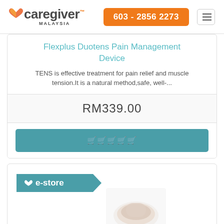caregiver MALAYSIA | 603 - 2856 2273
Flexplus Duotens Pain Management Device
TENS is effective treatment for pain relief and muscle tension.It is a natural method,safe, well-...
RM339.00
🛒🛒🛒🛒🛒
[Figure (logo): e-store badge with heart icon on teal background]
[Figure (photo): Product thumbnail image partially visible]